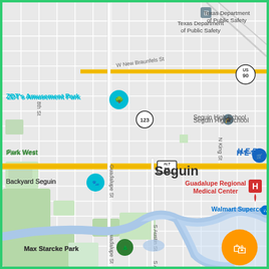[Figure (map): Google Maps screenshot showing Seguin, Texas. Notable landmarks labeled include: Texas Department of Public Safety (top right), ZDT's Amusement Park (top left, with teal pin), Seguin High School (upper right), Park West (left center), Backyard Seguin (left center, with teal pin), Guadalupe Regional Medical Center (right center, red H pin), H-E-B (far right), Walmart Supercenter (right center), Max Starcke Park (bottom left, with green pin), The Green Garden Center (bottom right). Roads visible include W New Braunfels St, Guadalupe St, S Austin St, N King St, 8th St. Highway markers: US 90, ALT 90, TX 123. A river (Guadalupe River) winds through the bottom portion. Major east-west road with yellow highway markings cuts across the middle.]